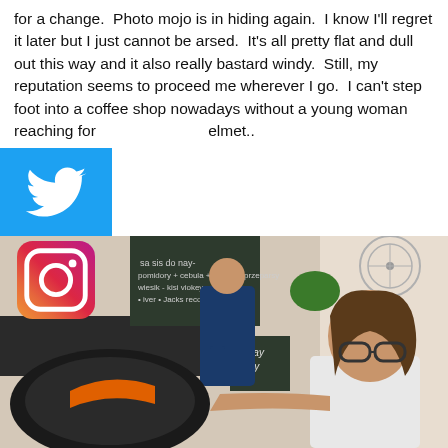for a change.  Photo mojo is in hiding again.  I know I'll regret it later but I just cannot be arsed.  It's all pretty flat and dull out this way and it also really bastard windy.  Still, my reputation seems to proceed me wherever I go.  I can't step foot into a coffee shop nowadays without a young woman reaching for my helmet..
[Figure (logo): Twitter bird logo on blue background]
[Figure (logo): Instagram camera logo with gradient background]
[Figure (photo): A young woman with glasses sitting at a cafe table examining a motorcycle helmet. In the background a man in a dark t-shirt stands at a counter. A chalkboard menu is visible on the wall along with a fan.]